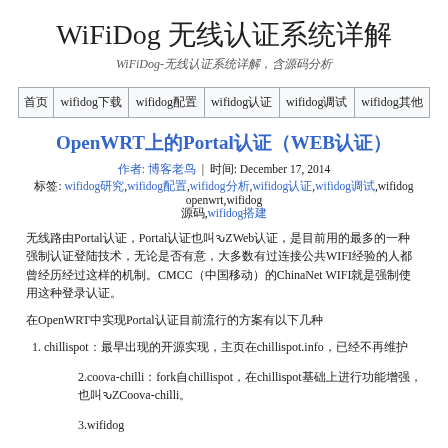WiFiDog 无线认证系统详解
WiFiDog-无线认证系统详解，含源码分析
| 首页 | wifidog下载 | wifidog配置 | wifidog认证 | wifidog调试 | wifidog其他 |
| --- | --- | --- | --- | --- | --- |
OpenWRT上的Portal认证（WEB认证）
作者: 博客老鸟   |   时间: December 17, 2014
标签: wifidog研究,wifidog配置,wifidog分析,wifidog认证,wifidog调试,wifidog openwrt,wifidog源码,wifidog搭建
无线路由Portal认证，Portal认证也叫做Web认证，是目前用的最多的一种强制认证登陆技术，无论是否有意，大多数有过连接公共WIFI经验的人都曾经历经过这样的机制。CMCC（中国移动）的ChinaNet WIFI就是强制使用这种登录认证。
在OpenWRT中实现Portal认证目前流行的方案有以下几种
chillispot：最早出现的开源实现，主页在chillispot.info，已经不再维护
2.coova-chilli：fork自chillispot，在chillispot基础上进行功能增强，也叫做Coova-chilli
3.wifidog
几乎所有第三方改版的固件都集成了wifidog，Wifidog在OpenWRT、DD-WRT上